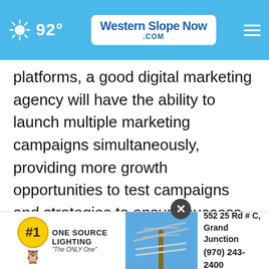92° Western Slope Now .com
platforms, a good digital marketing agency will have the ability to launch multiple marketing campaigns simultaneously, providing more growth opportunities to test campaigns and strategies to ensure success. Additionally, Zib Digital explains they are able to interpret data and react in real-time to implement necessary updates and changes quickly.

Working with a digital marketing agency like Zib Digital... about... the latest industry trends...
[Figure (screenshot): Advertisement overlay at bottom: One Source Lighting logo with antenna photo and contact info: 552 25 Rd # C, Grand Junction, (970) 243-2400. Also shows a close (X) button.]